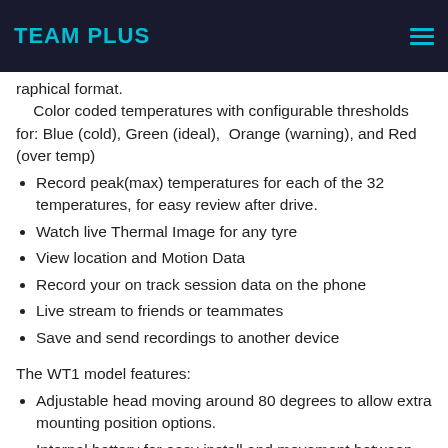TEAM PLUS
raphical format.
Color coded temperatures with configurable thresholds for: Blue (cold), Green (ideal), Orange (warning), and Red (over temp)
Record peak(max) temperatures for each of the 32 temperatures, for easy review after drive.
Watch live Thermal Image for any tyre
View location and Motion Data
Record your on track session data on the phone
Live stream to friends or teammates
Save and send recordings to another device
The WT1 model features:
Adjustable head moving around 80 degrees to allow extra mounting position options.
Internal battery for easy install and movement between vehicles
Micro USB port for charging and software updates.